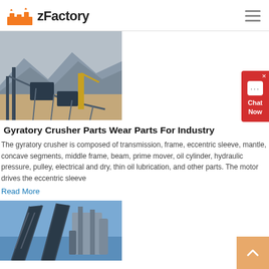zFactory
[Figure (photo): Industrial gyratory crusher machinery at a mining or quarry site, with mountains in the background]
Gyratory Crusher Parts Wear Parts For Industry
The gyratory crusher is composed of transmission, frame, eccentric sleeve, mantle, concave segments, middle frame, beam, prime mover, oil cylinder, hydraulic pressure, pulley, electrical and dry, thin oil lubrication, and other parts. The motor drives the eccentric sleeve
Read More
[Figure (photo): Industrial conveyor belt and metal framework structures at a mining or industrial facility against a blue sky]